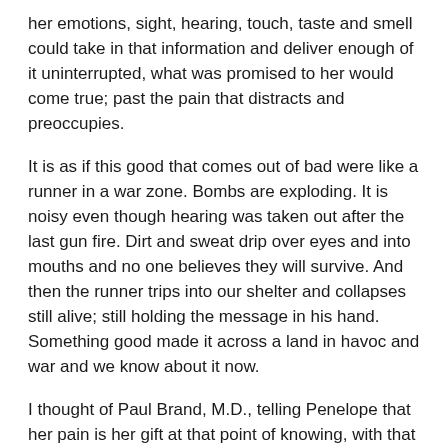her emotions, sight, hearing, touch, taste and smell could take in that information and deliver enough of it uninterrupted, what was promised to her would come true; past the pain that distracts and preoccupies.
It is as if this good that comes out of bad were like a runner in a war zone. Bombs are exploding. It is noisy even though hearing was taken out after the last gun fire. Dirt and sweat drip over eyes and into mouths and no one believes they will survive. And then the runner trips into our shelter and collapses still alive; still holding the message in his hand. Something good made it across a land in havoc and war and we know about it now.
I thought of Paul Brand, M.D., telling Penelope that her pain is her gift at that point of knowing, with that timing. Better than I could. She wouldn't laugh angrily and give him a bad review on-line. She would hear him. “Something good is coming your way. You have hope.” In my imagination, Penelope would not hear Dr. Brand moralizing her experience – “You are good if you perceive your gift and you are